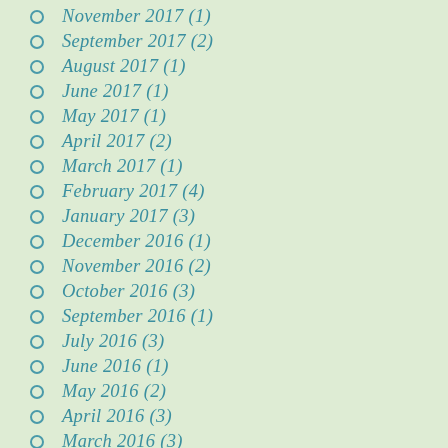November 2017 (1)
September 2017 (2)
August 2017 (1)
June 2017 (1)
May 2017 (1)
April 2017 (2)
March 2017 (1)
February 2017 (4)
January 2017 (3)
December 2016 (1)
November 2016 (2)
October 2016 (3)
September 2016 (1)
July 2016 (3)
June 2016 (1)
May 2016 (2)
April 2016 (3)
March 2016 (3)
February 2016 (4)
January 2016 (4)